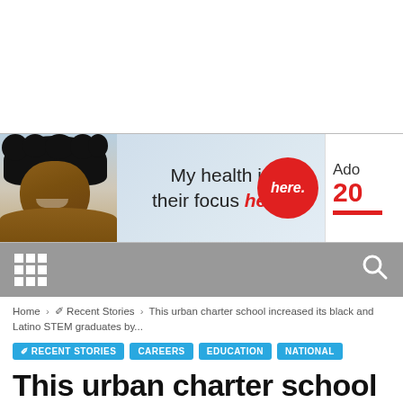[Figure (photo): Advertisement banner: woman smiling with curly hair, text 'My health is their focus here.' with red circle, and partial text 'Ado 20' on right side]
Navigation bar with grid menu icon and search icon
Home › ✐ Recent Stories › This urban charter school increased its black and Latino STEM graduates by...
✐ RECENT STORIES
CAREERS
EDUCATION
NATIONAL
This urban charter school increased its black and Latino STEM graduates by five times...